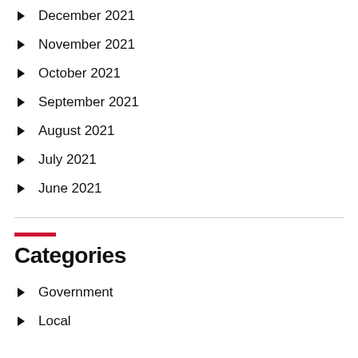December 2021
November 2021
October 2021
September 2021
August 2021
July 2021
June 2021
Categories
Government
Local